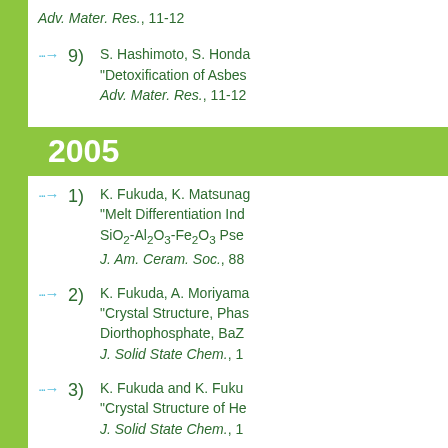Adv. Mater. Res., 11-12
9) S. Hashimoto, S. Honda, "Detoxification of Asbes... Adv. Mater. Res., 11-12
2005
1) K. Fukuda, K. Matsunaga, "Melt Differentiation Ind SiO2-Al2O3-Fe2O3 Pse J. Am. Ceram. Soc., 88
2) K. Fukuda, A. Moriyama, "Crystal Structure, Phas Diorthophosphate, BaZ J. Solid State Chem., 1
3) K. Fukuda and K. Fuku, "Crystal Structure of He J. Solid State Chem., 1